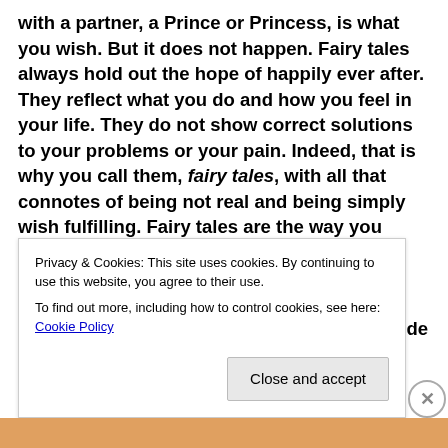with a partner, a Prince or Princess, is what you wish. But it does not happen. Fairy tales always hold out the hope of happily ever after. They reflect what you do and how you feel in your life. They do not show correct solutions to your problems or your pain. Indeed, that is why you call them, fairy tales, with all that connotes of being not real and being simply wish fulfilling. Fairy tales are the way you solace yourself about your human predicament. They demonstrate the wrong-gettedness of your thinking. They mirror the impossible struggles of your lives, but provide a
Privacy & Cookies: This site uses cookies. By continuing to use this website, you agree to their use.
To find out more, including how to control cookies, see here: Cookie Policy
Close and accept